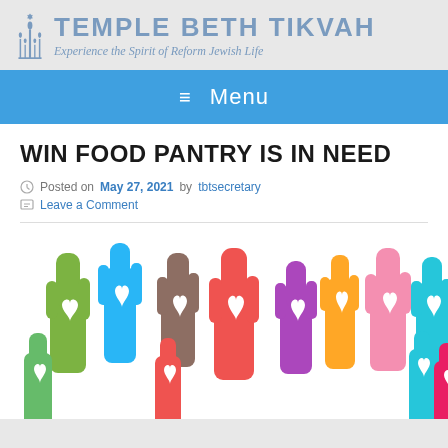[Figure (logo): Temple Beth Tikvah logo with menorah/candelabra icon and text reading TEMPLE BETH TIKVAH with subtitle Experience the Spirit of Reform Jewish Life]
≡ Menu
WIN FOOD PANTRY IS IN NEED
Posted on May 27, 2021 by tbtsecretary
Leave a Comment
[Figure (illustration): Colorful illustration of multiple raised hands with heart cutouts, in green, blue, red, yellow, orange, pink, purple, and teal colors]